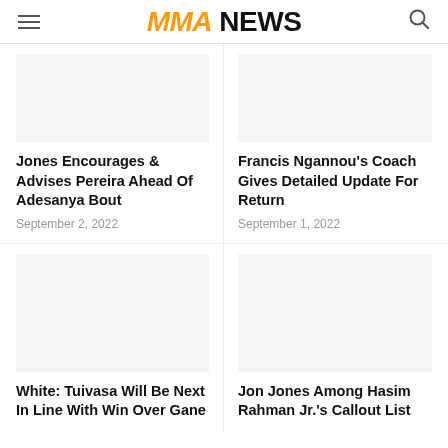MMA NEWS
Jones Encourages & Advises Pereira Ahead Of Adesanya Bout
September 2, 2022
Francis Ngannou's Coach Gives Detailed Update For Return
September 1, 2022
White: Tuivasa Will Be Next In Line With Win Over Gane
Jon Jones Among Hasim Rahman Jr.'s Callout List